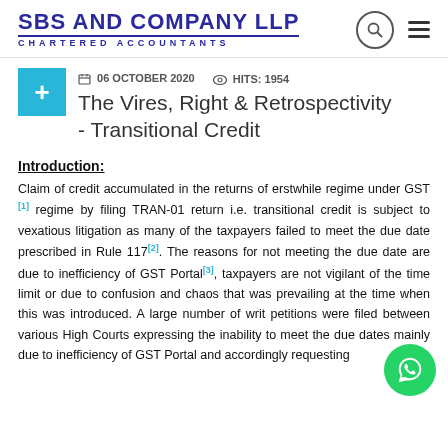SBS AND COMPANY LLP
CHARTERED ACCOUNTANTS
06 OCTOBER 2020   HITS: 1954
The Vires, Right & Retrospectivity - Transitional Credit
Introduction:
Claim of credit accumulated in the returns of erstwhile regime under GST [1] regime by filing TRAN-01 return i.e. transitional credit is subject to vexatious litigation as many of the taxpayers failed to meet the due date prescribed in Rule 117[2]. The reasons for not meeting the due date are due to inefficiency of GST Portal[3], taxpayers are not vigilant of the time limit or due to confusion and chaos that was prevailing at the time when this was introduced. A large number of writ petitions were filed between various High Courts expressing the inability to meet the due dates mainly due to inefficiency of GST Portal and accordingly requesting